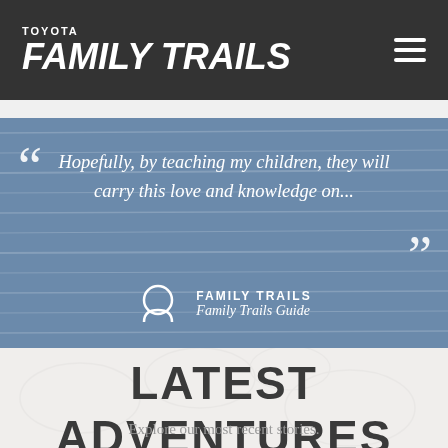TOYOTA FAMILY TRAILS
Hopefully, by teaching my children, they will carry this love and knowledge on...
FAMILY TRAILS — Family Trails Guide
LATEST ADVENTURES
Explore our most recent stories.